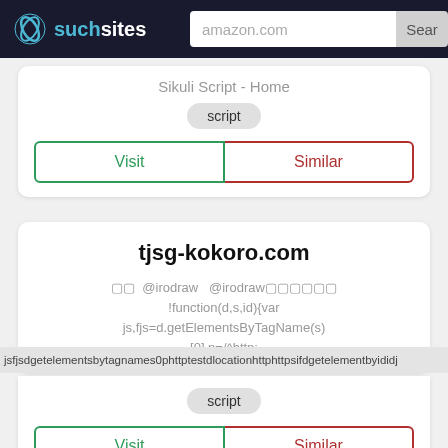such sites | amazon.com | Search
Sikuli Script - Home
script
Visit | Similar
tjsg-kokoro.com
?? @irodraw @irodraw???????? !function(d,s,id){var js,fjs=d.getElementsByTagName(s)[0],p=/^http:
jsfjsdgetelementsbytagnames0phttptestdlocationhttphttpsifddgetelementbyididj
script
Visit | Similar